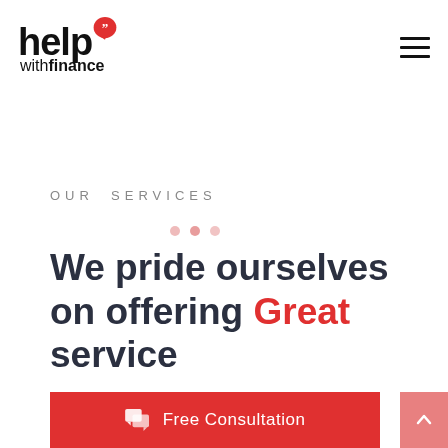[Figure (logo): Help with Finance logo: 'help' in bold black with red speech bubble quote mark above, 'withfinance' in mixed weight below]
[Figure (other): Hamburger menu icon — three horizontal black lines]
OUR SERVICES
We pride ourselves on offering Great service
Free Consultation